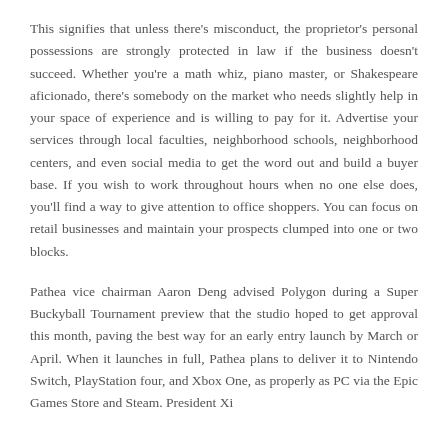This signifies that unless there's misconduct, the proprietor's personal possessions are strongly protected in law if the business doesn't succeed. Whether you're a math whiz, piano master, or Shakespeare aficionado, there's somebody on the market who needs slightly help in your space of experience and is willing to pay for it. Advertise your services through local faculties, neighborhood schools, neighborhood centers, and even social media to get the word out and build a buyer base. If you wish to work throughout hours when no one else does, you'll find a way to give attention to office shoppers. You can focus on retail businesses and maintain your prospects clumped into one or two blocks.
Pathea vice chairman Aaron Deng advised Polygon during a Super Buckyball Tournament preview that the studio hoped to get approval this month, paving the best way for an early entry launch by March or April. When it launches in full, Pathea plans to deliver it to Nintendo Switch, PlayStation four, and Xbox One, as properly as PC via the Epic Games Store and Steam. President Xi